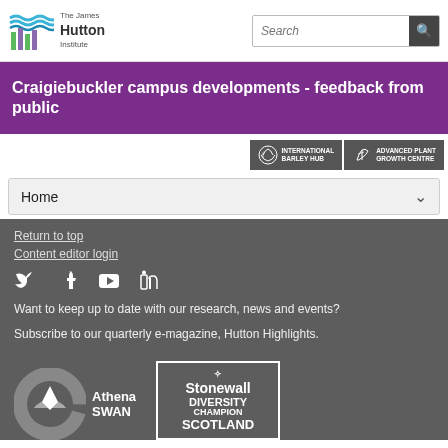[Figure (logo): The James Hutton Institute logo with stylized colorful wave/bar graphic]
[Figure (screenshot): Search bar with search icon button]
Craigiebuckler campus developments - feedback from public
[Figure (logo): International Barley Hub badge]
[Figure (logo): Advanced Plant Growth Centre badge]
Home
Return to top
Content editor login
[Figure (illustration): Social media icons: Twitter, Facebook, YouTube, LinkedIn]
Want to keep up to date with our research, news and events?
Subscribe to our quarterly e-magazine, Hutton Highlights.
[Figure (logo): Athena SWAN ECU Gender Charter logo]
[Figure (logo): Stonewall Diversity Champion Scotland logo]